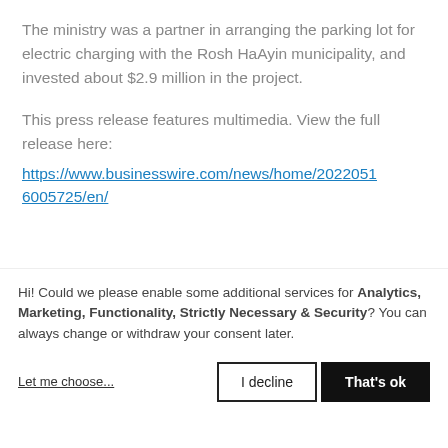The ministry was a partner in arranging the parking lot for electric charging with the Rosh HaAyin municipality, and invested about $2.9 million in the project.
This press release features multimedia. View the full release here: https://www.businesswire.com/news/home/20220516005725/en/
[Figure (logo): Blue banner with partial logo text 'electreon' and additional text visible]
Hi! Could we please enable some additional services for Analytics, Marketing, Functionality, Strictly Necessary & Security? You can always change or withdraw your consent later.
Let me choose...
I decline
That's ok